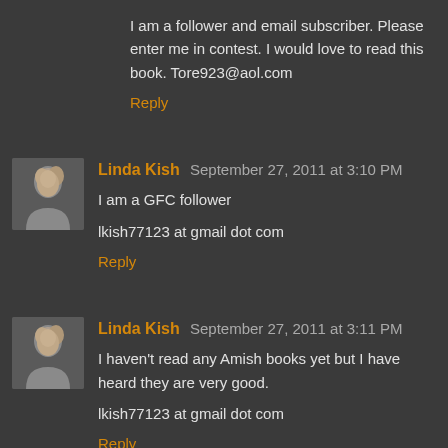I am a follower and email subscriber. Please enter me in contest. I would love to read this book. Tore923@aol.com
Reply
Linda Kish September 27, 2011 at 3:10 PM
I am a GFC follower
lkish77123 at gmail dot com
Reply
Linda Kish September 27, 2011 at 3:11 PM
I haven't read any Amish books yet but I have heard they are very good.
lkish77123 at gmail dot com
Reply